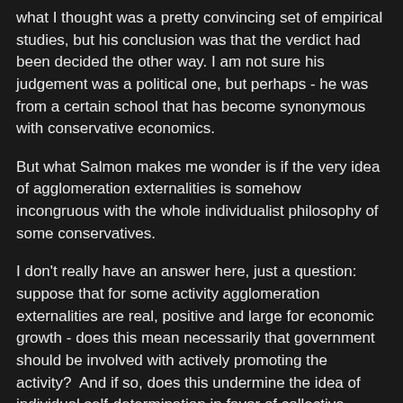what I thought was a pretty convincing set of empirical studies, but his conclusion was that the verdict had been decided the other way. I am not sure his judgement was a political one, but perhaps - he was from a certain school that has become synonymous with conservative economics.
But what Salmon makes me wonder is if the very idea of agglomeration externalities is somehow incongruous with the whole individualist philosophy of some conservatives.
I don't really have an answer here, just a question: suppose that for some activity agglomeration externalities are real, positive and large for economic growth - does this mean necessarily that government should be involved with actively promoting the activity?  And if so, does this undermine the idea of individual self-determination in favor of collective action?
at 12:24 PM   6 comments: